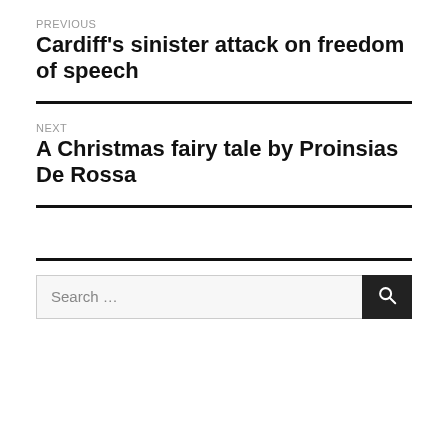PREVIOUS
Cardiff's sinister attack on freedom of speech
NEXT
A Christmas fairy tale by Proinsias De Rossa